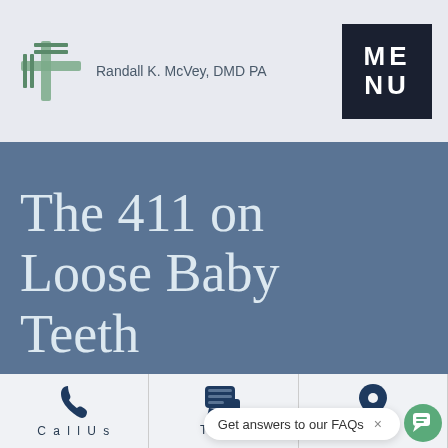[Figure (logo): Randall K. McVey DMD PA dental practice logo with green cross/plus symbol and practice name]
[Figure (other): Dark square button with text ME / NU (MENU) in white bold letters]
The 411 on Loose Baby Teeth
[Figure (infographic): Bottom navigation bar with phone icon (Call Us), chat icon (Text), and location pin icon, plus FAQ popup notification and green chat bubble button]